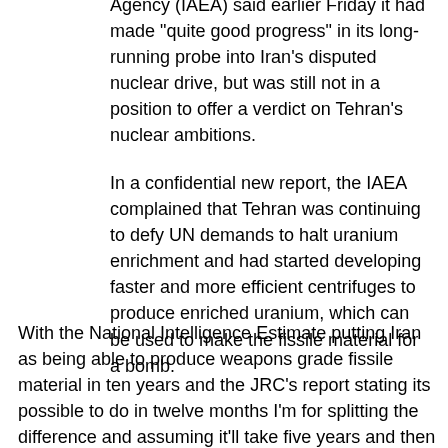Agency (IAEA) said earlier Friday it had made "quite good progress" in its long-running probe into Iran's disputed nuclear drive, but was still not in a position to offer a verdict on Tehran's nuclear ambitions.
In a confidential new report, the IAEA complained that Tehran was continuing to defy UN demands to halt uranium enrichment and had started developing faster and more efficient centrifuges to produce enriched uranium, which can be used to make the fissile material for a bomb.
With the National Intelligence Estimate putting Iran as being able to produce weapons grade fissile material in ten years and the JRC's report stating its possible to do in twelve months I'm for splitting the difference and assuming it'll take five years and then crafting our policies to reflect the new assumed time line. Personally I'm not for taking military options off of the table but having said that I am also for directly engaging in talks with Iran via diplomatic channels rather than a leader to leader summit. Once we take military